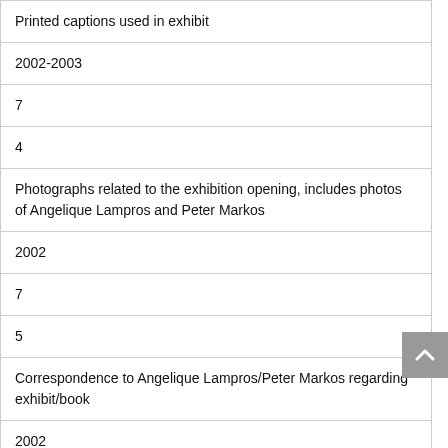| Printed captions used in exhibit |
| 2002-2003 |
| 7 |
| 4 |
| Photographs related to the exhibition opening, includes photos of Angelique Lampros and Peter Markos |
| 2002 |
| 7 |
| 5 |
| Correspondence to Angelique Lampros/Peter Markos regarding exhibit/book |
| 2002 |